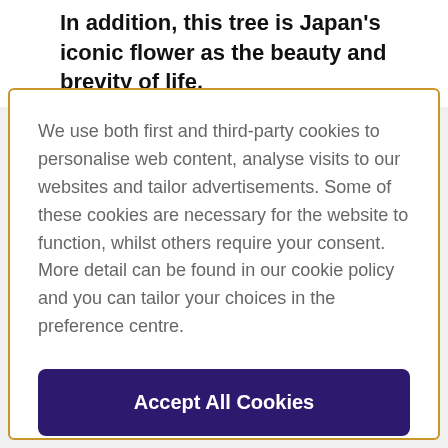In addition, this tree is Japan's iconic flower as the beauty and brevity of life.
We use both first and third-party cookies to personalise web content, analyse visits to our websites and tailor advertisements. Some of these cookies are necessary for the website to function, whilst others require your consent. More detail can be found in our cookie policy and you can tailor your choices in the preference centre.
Accept All Cookies
Cookies Settings